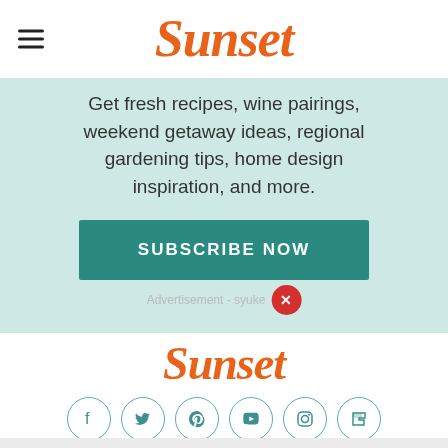Sunset
Get fresh recipes, wine pairings, weekend getaway ideas, regional gardening tips, home design inspiration, and more.
SUBSCRIBE NOW
Advertisement - syuke
[Figure (logo): Sunset magazine logo in orange italic script]
[Figure (infographic): Row of 6 circular social media icons: Facebook, Twitter, Pinterest, YouTube, Instagram, Flipboard in teal outline style]